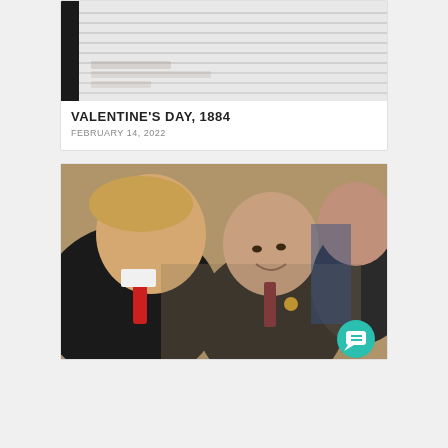[Figure (photo): Scanned historical document with horizontal ruled lines, black and white]
VALENTINE'S DAY, 1884
FEBRUARY 14, 2022
[Figure (photo): Photo of two men in suits, one with blonde hair and red tie leaning toward the other with grey hair]